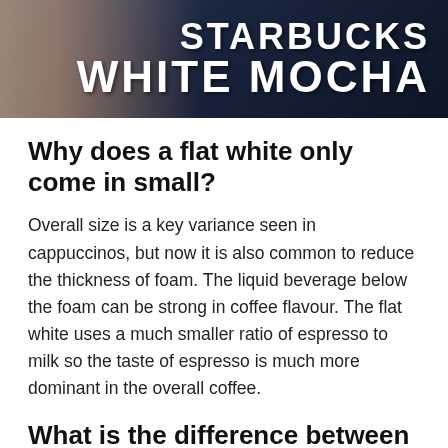[Figure (photo): Photo of a person holding a Starbucks White Mocha cup, with large bold white text reading 'STARBUCKS WHITE MOCHA' overlaid on a dark background]
Why does a flat white only come in small?
Overall size is a key variance seen in cappuccinos, but now it is also common to reduce the thickness of foam. The liquid beverage below the foam can be strong in coffee flavour. The flat white uses a much smaller ratio of espresso to milk so the taste of espresso is much more dominant in the overall coffee.
What is the difference between cortado and flat white?